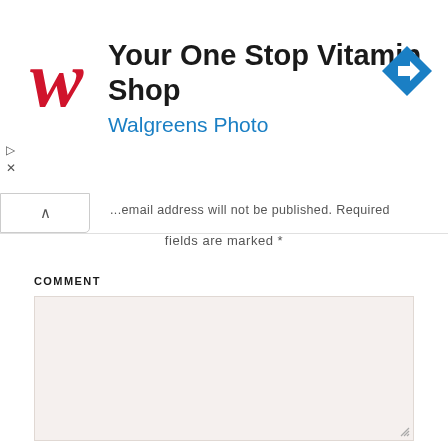[Figure (screenshot): Walgreens advertisement banner: 'Your One Stop Vitamin Shop' with Walgreens Photo logo and navigation icon]
...email address will not be published. Required fields are marked *
COMMENT
[Figure (screenshot): Empty comment textarea input field with resize handle]
NAME *
[Figure (screenshot): Empty name text input field]